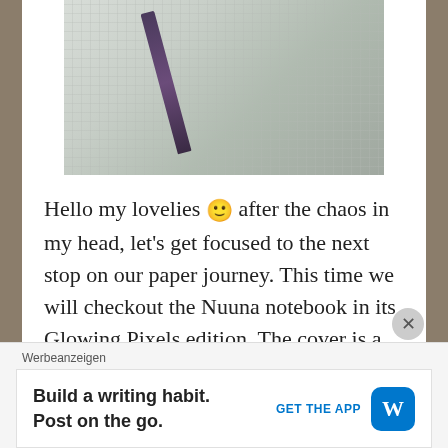[Figure (photo): A notebook with a pen/pencil on a wooden surface, top portion of the image cropped]
Hello my lovelies 🙂 after the chaos in my head, let's get focused to the next stop on our paper journey. This time we will checkout the Nuuna notebook in its Glowing Pixels edition. The cover is a smooth leather in white with light...
Continue Reading
Werbeanzeigen
Build a writing habit. Post on the go. GET THE APP